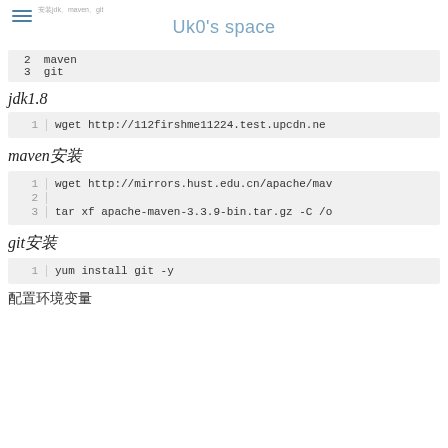Uk0's space
2 maven
3 git
jdk1.8
1   wget http://112firshme11224.test.upcdn.ne
maven安装
1  wget http://mirrors.hust.edu.cn/apache/mav
2
3  tar xf apache-maven-3.3.9-bin.tar.gz -C /o
git安装
1   yum install git -y
配置环境变量